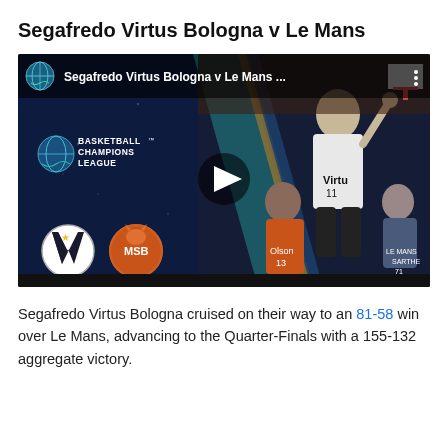Segafredo Virtus Bologna v Le Mans
[Figure (screenshot): YouTube video thumbnail showing a Basketball Champions League game between Segafredo Virtus Bologna and Le Mans (MSB). The thumbnail shows a basketball player in a Virtus jersey shooting, with a play button in the center. Team logos for Virtus Bologna and MSB are shown in the lower left. The top bar shows the video title 'Segafredo Virtus Bologna v Le Mans ...' with the BCL globe icon.]
Segafredo Virtus Bologna cruised on their way to an 81-58 win over Le Mans, advancing to the Quarter-Finals with a 155-132 aggregate victory.